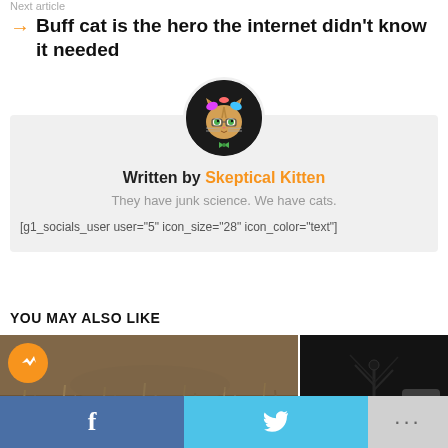Next article
Buff cat is the hero the internet didn't know it needed
[Figure (illustration): Round avatar image of a cartoon cat with colorful hair, glasses, and bow tie on dark background]
Written by Skeptical Kitten
They have junk science. We have cats.
[g1_socials_user user="5" icon_size="28" icon_color="text"]
YOU MAY ALSO LIKE
[Figure (photo): Thumbnail of grassy/brown outdoor scene]
[Figure (photo): Thumbnail of dark scene with insect-like figure]